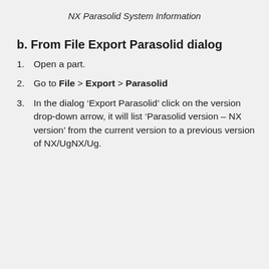NX Parasolid System Information
b. From File Export Parasolid dialog
1. Open a part.
2. Go to File > Export > Parasolid
3. In the dialog ‘Export Parasolid’ click on the version drop-down arrow, it will list ‘Parasolid version – NX version’ from the current version to a previous version of NX/UgNX/Ug.